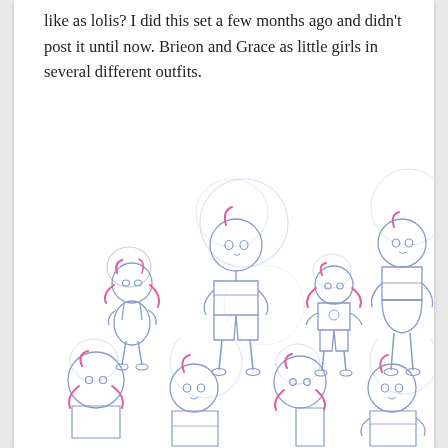like as lolis? I did this set a few months ago and didn't post it until now. Brieon and Grace as little girls in several different outfits.
[Figure (illustration): Cartoon sketch illustrations of two young girl characters (Brieon and Grace) drawn in anime/cartoon style with blue pencil lines and pink/magenta hair accents. Top row shows full-body poses in various outfits: overalls, shorts, t-shirt with shorts, and a skirt. Bottom row shows partial upper-body sketches of the same characters in different poses and outfits.]